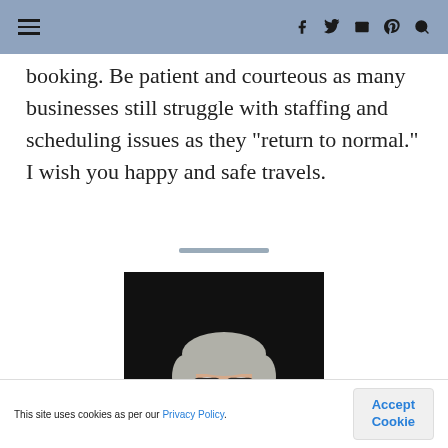Navigation bar with hamburger menu and social icons
booking. Be patient and courteous as many businesses still struggle with staffing and scheduling issues as they “return to normal.” I wish you happy and safe travels.
[Figure (photo): Portrait photo of a woman with short gray hair, glasses, wearing a denim sleeveless top, resting chin on hand, dark background]
This site uses cookies as per our Privacy Policy.